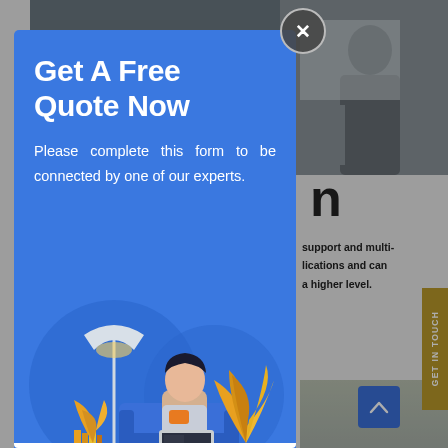[Figure (screenshot): Website screenshot visible behind popup modal showing office/meeting photo at top, partial heading 'n', text about support and multi-lications and higher level, bottom blurred area, scroll-to-top button, and Get In Touch yellow tab.]
Get A Free Quote Now
Please complete this form to be connected by one of our experts.
[Figure (illustration): Flat vector illustration of a person sitting on a blue couch working on a laptop, with decorative plants (orange/golden leaves), a floor lamp, and a small bookshelf on a blue background.]